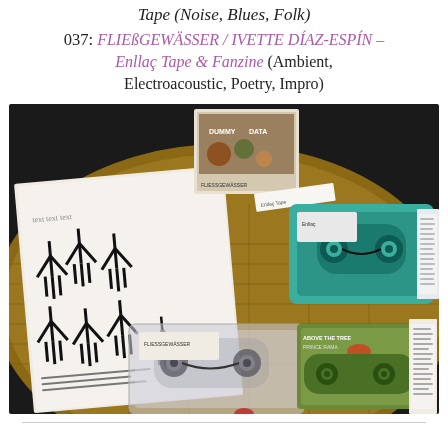Tape (Noise, Blues, Folk) 037: FLIEßGEWÄSSER / IVETTE DÍAZ-ESPÍN – Enllaç Tape & Fanzine (Ambient, Electroacoustic, Poetry, Impro)
[Figure (photo): Photo of several cassette tapes and a fanzine/booklet spread on a wicker surface. Visible items include a clear cassette tape, a teal/green transparent cassette, a cassette case labeled 'ABOVE THE TREE', a booklet with black hand/figure illustrations, and various inserts and printed materials.]